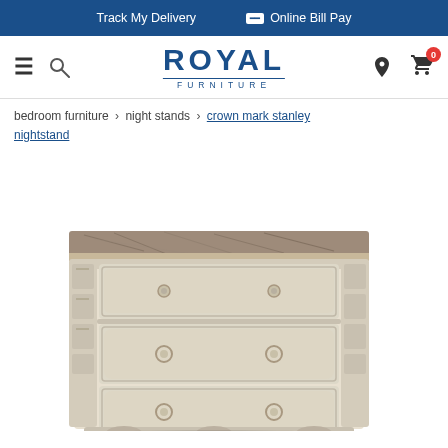Track My Delivery | Online Bill Pay
[Figure (screenshot): Royal Furniture website navigation bar with hamburger menu, search icon, Royal Furniture logo, location icon, and cart icon]
bedroom furniture › night stands › crown mark stanley nightstand
[Figure (photo): Crown Mark Stanley Nightstand — a white/antique silver nightstand with a dark marble/granite top, decorative carved columns on the sides, three bow-front drawers with ornate ring pulls, and bun feet at the bottom.]